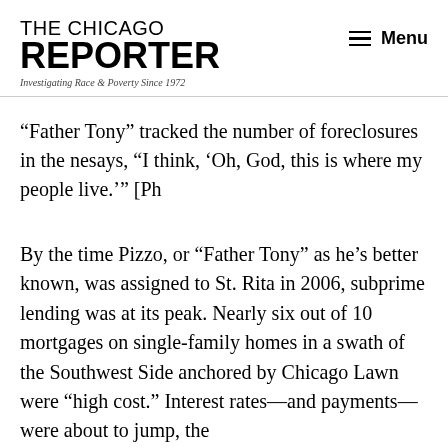THE CHICAGO REPORTER — Investigating Race & Poverty Since 1972 — Menu
“Father Tony” tracked the number of foreclosures in the ne... says, “I think, ‘Oh, God, this is where my people live.’” [Ph
By the time Pizzo, or “Father Tony” as he’s better known, was assigned to St. Rita in 2006, subprime lending was at its peak. Nearly six out of 10 mortgages on single-family homes in a swath of the Southwest Side anchored by Chicago Lawn were “high cost.” Interest rates—and payments—were about to jump, the